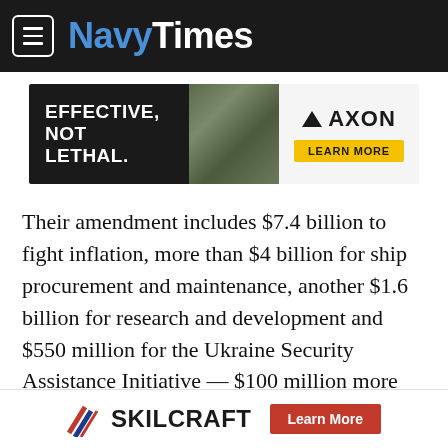NavyTimes
[Figure (infographic): Axon advertisement banner: 'EFFECTIVE, NOT LETHAL.' with soldier image and AXON LEARN MORE button]
Their amendment includes $7.4 billion to fight inflation, more than $4 billion for ship procurement and maintenance, another $1.6 billion for research and development and $550 million for the Ukraine Security Assistance Initiative — $100 million more for the Ukrainian military aid account than in the draft legislation released Monday.
Luria, who had strongly criticized Biden's defense
[Figure (infographic): SKILCRAFT advertisement banner with logo and 'Learn More' button]